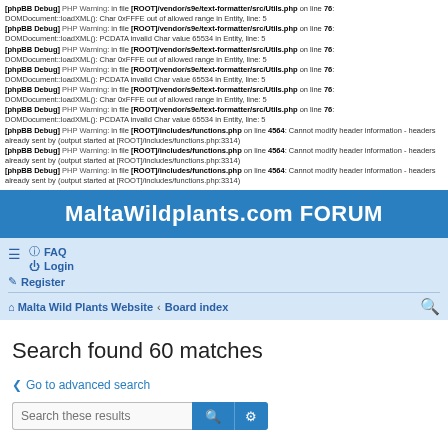[phpBB Debug] PHP Warning: in file [ROOT]/vendor/s9e/text-formatter/src/Utils.php on line 76: DOMDocument::loadXML(): Char 0xFFFE out of allowed range in Entity, line: 5
[phpBB Debug] PHP Warning: in file [ROOT]/vendor/s9e/text-formatter/src/Utils.php on line 76: DOMDocument::loadXML(): PCDATA invalid Char value 65534 in Entity, line: 5
[phpBB Debug] PHP Warning: in file [ROOT]/vendor/s9e/text-formatter/src/Utils.php on line 76: DOMDocument::loadXML(): Char 0xFFFE out of allowed range in Entity, line: 5
[phpBB Debug] PHP Warning: in file [ROOT]/vendor/s9e/text-formatter/src/Utils.php on line 76: DOMDocument::loadXML(): PCDATA invalid Char value 65534 in Entity, line: 5
[phpBB Debug] PHP Warning: in file [ROOT]/vendor/s9e/text-formatter/src/Utils.php on line 76: DOMDocument::loadXML(): Char 0xFFFE out of allowed range in Entity, line: 5
[phpBB Debug] PHP Warning: in file [ROOT]/vendor/s9e/text-formatter/src/Utils.php on line 76: DOMDocument::loadXML(): PCDATA invalid Char value 65534 in Entity, line: 5
[phpBB Debug] PHP Warning: in file [ROOT]/includes/functions.php on line 4564: Cannot modify header information - headers already sent by (output started at [ROOT]/includes/functions.php:3314)
[phpBB Debug] PHP Warning: in file [ROOT]/includes/functions.php on line 4564: Cannot modify header information - headers already sent by (output started at [ROOT]/includes/functions.php:3314)
[phpBB Debug] PHP Warning: in file [ROOT]/includes/functions.php on line 4564: Cannot modify header information - headers already sent by (output started at [ROOT]/includes/functions.php:3314)
MaltaWildplants.com FORUM
FAQ Login Register Malta Wild Plants Website Board index
Search found 60 matches
Go to advanced search
Search these results